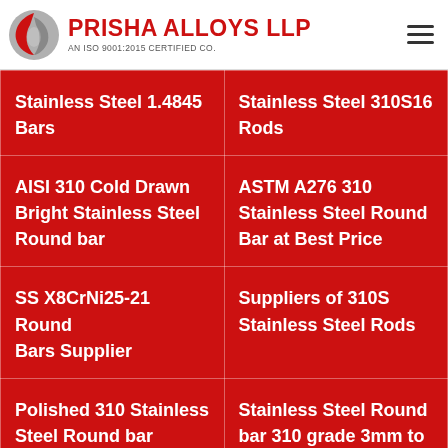PRISHA ALLOYS LLP — AN ISO 9001:2015 CERTIFIED CO.
| Stainless Steel 1.4845 Bars | Stainless Steel 310S16 Rods |
| AISI 310 Cold Drawn Bright Stainless Steel Round bar | ASTM A276 310 Stainless Steel Round Bar at Best Price |
| SS X8CrNi25-21 Round Bars Supplier | Suppliers of 310S Stainless Steel Rods |
| Polished 310 Stainless Steel Round bar | Stainless Steel Round bar 310 grade 3mm to |